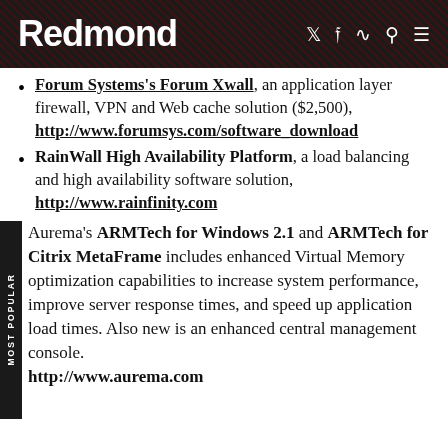Redmond
Forum Systems's Forum Xwall, an application layer firewall, VPN and Web cache solution ($2,500), http://www.forumsys.com/software_download
RainWall High Availability Platform, a load balancing and high availability software solution, http://www.rainfinity.com
Aurema's ARMTech for Windows 2.1 and ARMTech for Citrix MetaFrame includes enhanced Virtual Memory optimization capabilities to increase system performance, improve server response times, and speed up application load times. Also new is an enhanced central management console. http://www.aurema.com